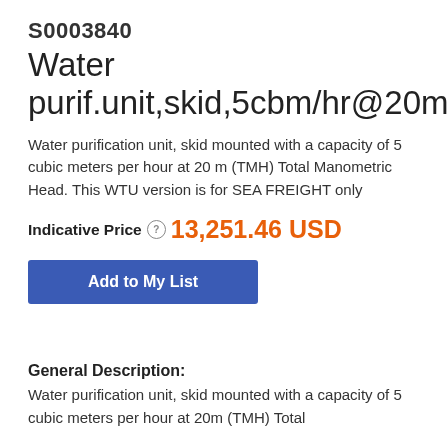S0003840
Water purif.unit,skid,5cbm/hr@20m,TMH
Water purification unit, skid mounted with a capacity of 5 cubic meters per hour at 20 m (TMH) Total Manometric Head. This WTU version is for SEA FREIGHT only
Indicative Price ? 13,251.46 USD
Add to My List
General Description:
Water purification unit, skid mounted with a capacity of 5 cubic meters per hour at 20m (TMH) Total